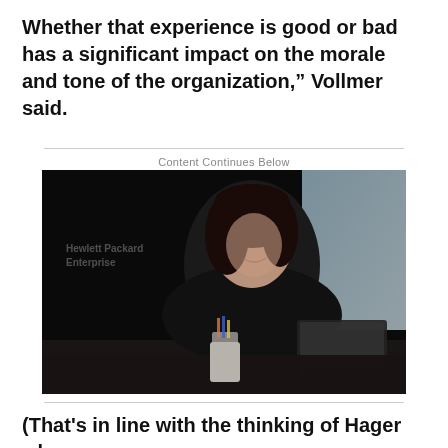Whether that experience is good or bad has a significant impact on the morale and tone of the organization," Vollmer said.
[Figure (photo): A woman with dark hair wearing a black top, sitting at a desk with a laptop, smiling slightly. The background shows a bright window. Hewlett Packard Enterprise branding is faintly visible in the upper-left of the image.]
(That's in line with the thinking of Hager who